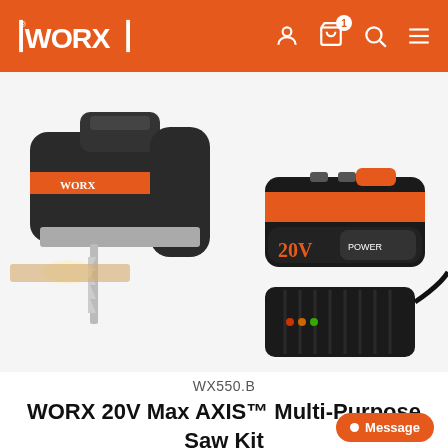WORX
[Figure (photo): WORX 20V Max AXIS Multi-Purpose Saw jigsaw tool with battery pack and charger on white background]
WX550.B
WORX 20V Max AXIS™ Multi-Purpose Saw Kit